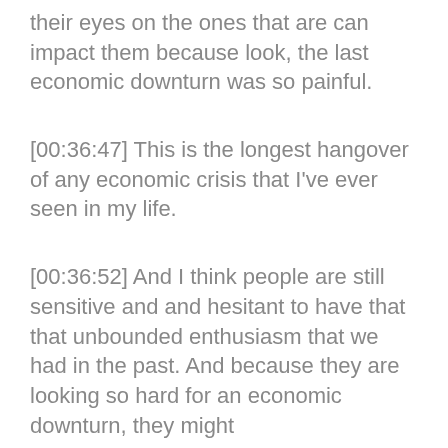their eyes on the ones that are can impact them because look, the last economic downturn was so painful.
[00:36:47] This is the longest hangover of any economic crisis that I've ever seen in my life.
[00:36:52] And I think people are still sensitive and and hesitant to have that that unbounded enthusiasm that we had in the past. And because they are looking so hard for an economic downturn, they might